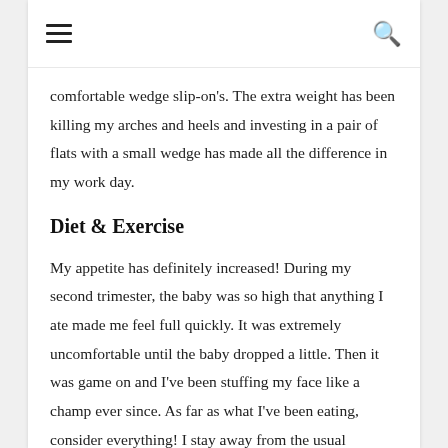☰  🔍
comfortable wedge slip-on's. The extra weight has been killing my arches and heels and investing in a pair of flats with a small wedge has made all the difference in my work day.
Diet & Exercise
My appetite has definitely increased! During my second trimester, the baby was so high that anything I ate made me feel full quickly. It was extremely uncomfortable until the baby dropped a little. Then it was game on and I've been stuffing my face like a champ ever since. As far as what I've been eating, consider everything! I stay away from the usual suspects, raw meats, sushi,